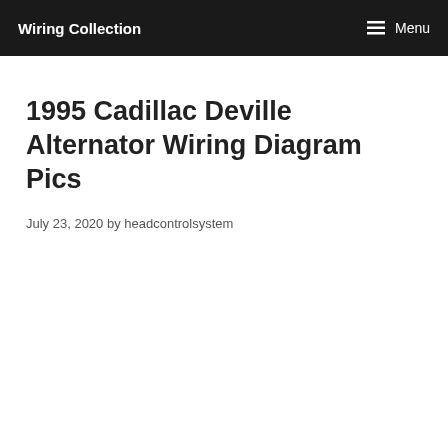Wiring Collection  Menu
1995 Cadillac Deville Alternator Wiring Diagram Pics
July 23, 2020 by headcontrolsystem